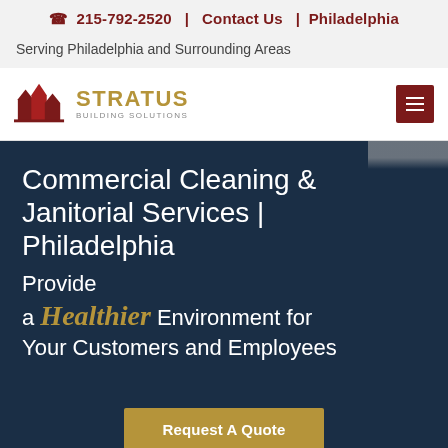📞 215-792-2520  |  Contact Us  |  Philadelphia
Serving Philadelphia and Surrounding Areas
[Figure (logo): Stratus Building Solutions logo with red building silhouette and gold STRATUS text]
Commercial Cleaning & Janitorial Services | Philadelphia
Provide a Healthier Environment for Your Customers and Employees
Request A Quote